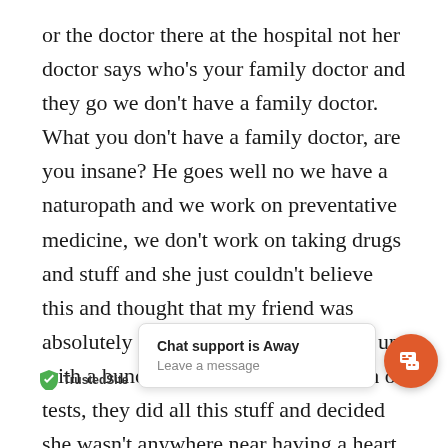or the doctor there at the hospital not her doctor says who's your family doctor and they go we don't have a family doctor. What you don't have a family doctor, are you insane? He goes well no we have a naturopath and we work on preventative medicine, we don't work on taking drugs and stuff and she just couldn't believe this and thought that my friend was absolutely insane so they pumped her up with a bunch of drugs and did a bunch of tests, they did all this stuff and decided she wasn't anywhere near having a heart attack and so then they went up to see the naturopath and he spent four hours with her detoxing and he kept pointing out to her, here's a toxic reaction you had to that drug, here's a toxic reaction to this drug, all the t... ne d... they put her in. Plus ... pac... groun... ay from just being in the hospital, he
[Figure (other): Chat support widget showing 'Chat support is Away' with 'Leave a message' subtitle, alongside an orange circular chat button with speech bubble icons]
[Figure (logo): TrustedSite badge with green shield checkmark icon]